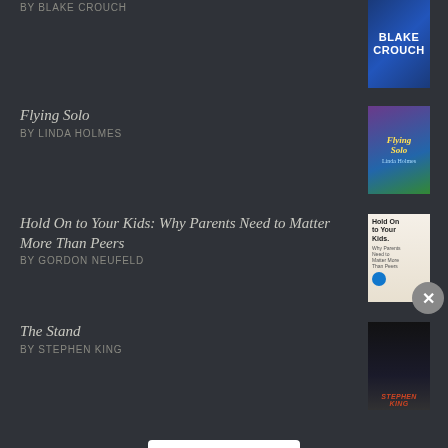Flying Solo BY LINDA HOLMES
Hold On to Your Kids: Why Parents Need to Matter More Than Peers BY GORDON NEUFELD
The Stand BY STEPHEN KING
[Figure (logo): Goodreads logo in white rounded rectangle]
Advertisements
[Figure (infographic): DuckDuckGo advertisement banner: Search, browse, and email with more privacy. All in One Free App.]